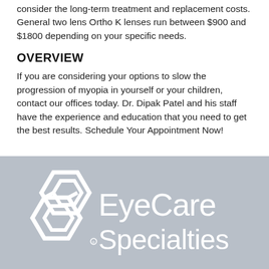consider the long-term treatment and replacement costs. General two lens Ortho K lenses run between $900 and $1800 depending on your specific needs.
OVERVIEW
If you are considering your options to slow the progression of myopia in yourself or your children, contact our offices today. Dr. Dipak Patel and his staff have the experience and education that you need to get the best results. Schedule Your Appointment Now!
[Figure (logo): EyeCare Specialties logo with geometric hexagon/diamond icon on left and 'EyeCare Specialties' text on right, white on grey background]